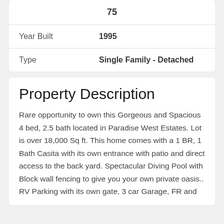|  | 75 |
| Year Built | 1995 |
| Type | Single Family - Detached |
Property Description
Rare opportunity to own this Gorgeous and Spacious 4 bed, 2.5 bath located in Paradise West Estates. Lot is over 18,000 Sq ft. This home comes with a 1 BR, 1 Bath Casita with its own entrance with patio and direct access to the back yard. Spectacular Diving Pool with Block wall fencing to give you your own private oasis.. RV Parking with its own gate, 3 car Garage, FR and